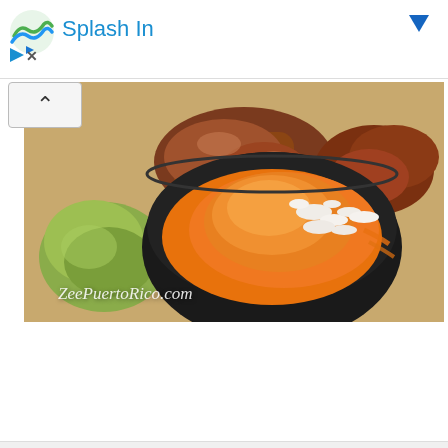[Figure (other): Ad banner with Splash In logo (green/blue wavy icon) and text 'Splash In' in blue, with a blue dropdown arrow on the right and an X close button on the lower left]
[Figure (photo): Food photo showing Puerto Rican cuisine in a black bowl — orange-sauced rice/mofongo with white cheese crumbles, green plantains/pickles on the side, and fried meat. Watermark reads 'ZeePuertoRico.com']